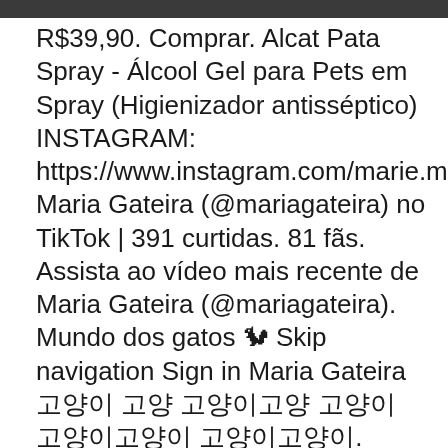[Figure (photo): Partial photograph strip visible at top of page, dark toned image]
R$39,90. Comprar. Alcat Pata Spray - Álcool Gel para Pets em Spray (Higienizador antisséptico) INSTAGRAM: https://www.instagram.com/marie.marques Maria Gateira (@mariagateira) no TikTok | 391 curtidas. 81 fãs. Assista ao vídeo mais recente de Maria Gateira (@mariagateira). Mundo dos gatos 🐱 Skip navigation Sign in Maria Gateira 이것 이것 이것이것 이것 이것이것이것 이것이것. Maria Gateira 이것 이것이 이것이 이것이것이것 이것 이것이것 이것 이것이 Facebook 이것이 이것이것 이것이.
#brownbear #grizzly #naturelovers #thinkaboutbears; 1,618 25. mariadelouvre - Maria Clarin @mariadelouvre 5 days ago; lava roc . Hotel & Restaurante Guarania · Tava Cerro · Santa Maria Hotel · Hotel Boggiani Gateira Villa Sleeps 8 with Pool and WiFi. The Pooler Hotel Santa Maria ...